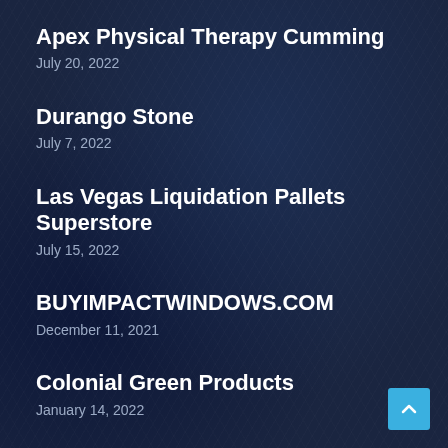Apex Physical Therapy Cumming
July 20, 2022
Durango Stone
July 7, 2022
Las Vegas Liquidation Pallets Superstore
July 15, 2022
BUYIMPACTWINDOWS.COM
December 11, 2021
Colonial Green Products
January 14, 2022